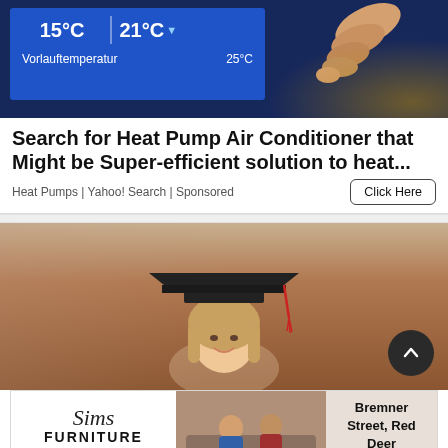[Figure (photo): A thermostat/heating control display showing temperatures 15°C and 21°C with Vorlauftemperatur 25°C, with a finger pressing the screen]
Search for Heat Pump Air Conditioner that Might be Super-efficient solution to heat...
Heat Pumps | Yahoo! Search | Sponsored
[Figure (photo): A smiling young woman wearing a black graduation cap with red tassel against a blurred background]
[Figure (logo): Sims Furniture banner advertisement with logo, photo of people on couch, and text: Bremner Street, Red Deer]